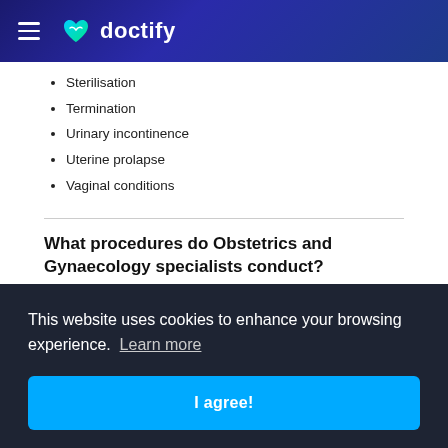Doctify
Sterilisation
Termination
Urinary incontinence
Uterine prolapse
Vaginal conditions
What procedures do Obstetrics and Gynaecology specialists conduct?
Dubai Ob-Gyns are trained surgeons who carry out a wide range of treatments and procedures
This website uses cookies to enhance your browsing experience.  Learn more
Breast health management